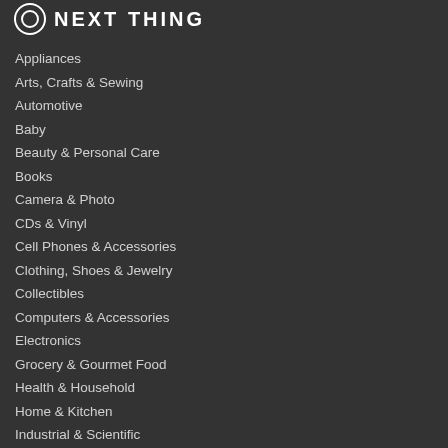NEXT THING
Appliances
Arts, Crafts & Sewing
Automotive
Baby
Beauty & Personal Care
Books
Camera & Photo
CDs & Vinyl
Cell Phones & Accessories
Clothing, Shoes & Jewelry
Collectibles
Computers & Accessories
Electronics
Grocery & Gourmet Food
Health & Household
Home & Kitchen
Industrial & Scientific
Kindle & Ebooks